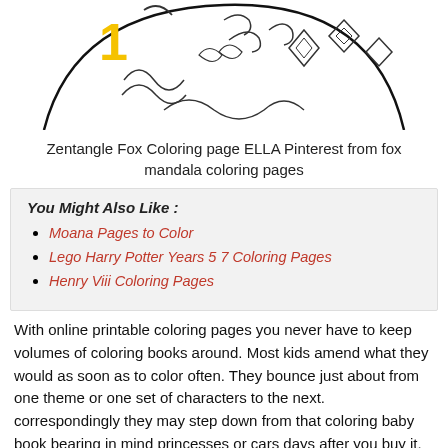[Figure (illustration): Partial view of a Zentangle Fox coloring page — circular mandala-style fox with decorative patterns, black and white line art, partially cropped at top.]
Zentangle Fox Coloring page ELLA Pinterest from fox mandala coloring pages
You Might Also Like :
Moana Pages to Color
Lego Harry Potter Years 5 7 Coloring Pages
Henry Viii Coloring Pages
With online printable coloring pages you never have to keep volumes of coloring books around. Most kids amend what they would as soon as to color often. They bounce just about from one theme or one set of characters to the next. correspondingly they may step down from that coloring baby book bearing in mind princesses or cars days after you buy it. Printing out the pages though allows them to always get what they want.